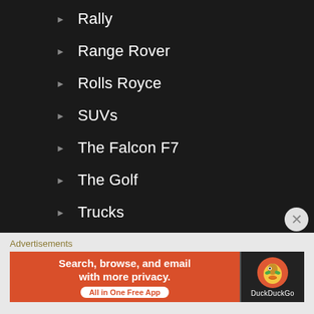Rally
Range Rover
Rolls Royce
SUVs
The Falcon F7
The Golf
Trucks
Chiron Hermes 1:1
Clothes
Advertisements
[Figure (screenshot): DuckDuckGo advertisement banner: orange left panel with text 'Search, browse, and email with more privacy. All in One Free App' and dark right panel with DuckDuckGo logo and text]